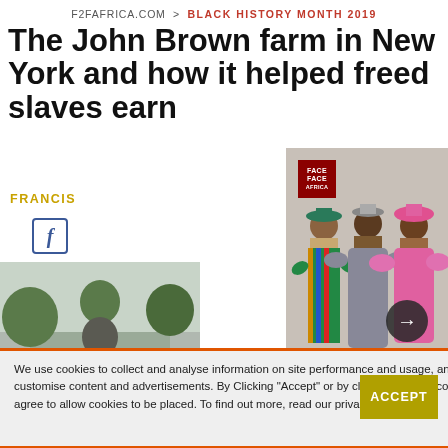F2FAFRICA.COM > BLACK HISTORY MONTH 2019
The John Brown farm in New York and how it helped freed slaves earn
FRANCIS
[Figure (screenshot): A Facebook share icon button]
[Figure (photo): A statue of a person outdoors with trees in background]
[Figure (photo): Three women in colorful traditional African dresses and hats posing together, with Face2Face Africa logo overlay and right arrow navigation button. Caption reads: Explore the rich andbeautifulfashion]
Explore the rich andbeautifulfashion
We use cookies to collect and analyse information on site performance and usage, and to enhance and customise content and advertisements. By Clicking "Accept" or by clicking into any content on this site, you agree to allow cookies to be placed. To find out more, read our privacy policy.